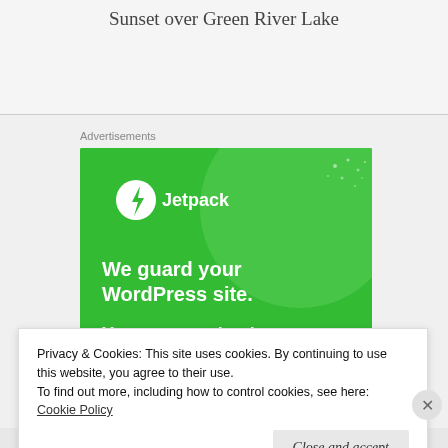Sunset over Green River Lake
Advertisements
[Figure (advertisement): Jetpack advertisement banner on green background. Shows Jetpack logo (lightning bolt in circle) with text: 'We guard your WordPress site. You run your business.']
Privacy & Cookies: This site uses cookies. By continuing to use this website, you agree to their use.
To find out more, including how to control cookies, see here:
Cookie Policy
Close and accept